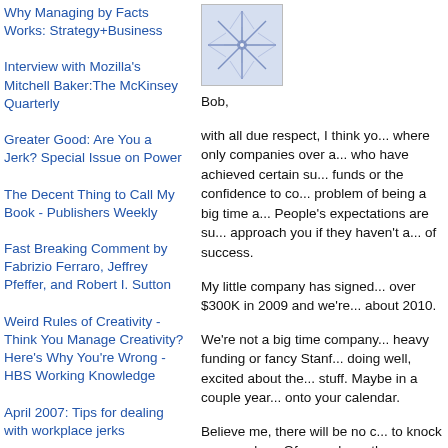Why Managing by Facts Works: Strategy+Business
Interview with Mozilla's Mitchell Baker:The McKinsey Quarterly
Greater Good: Are You a Jerk? Special Issue on Power
The Decent Thing to Call My Book - Publishers Weekly
Fast Breaking Comment by Fabrizio Ferraro, Jeffrey Pfeffer, and Robert I. Sutton
Weird Rules of Creativity - Think You Manage Creativity? Here's Why You're Wrong - HBS Working Knowledge
April 2007: Tips for dealing with workplace jerks
[Figure (illustration): A decorative square image with a blue/purple starburst or snowflake geometric pattern on a light background]
Bob,
with all due respect, I think yo... where only companies over a... who have achieved certain su... funds or the confidence to co... problem of being a big time a... People's expectations are su... approach you if they haven't a... of success.
My little company has signed... over $300K in 2009 and we're... about 2010.
We're not a big time company... heavy funding or fancy Stanf... doing well, excited about the... stuff. Maybe in a couple year... onto your calendar.
Believe me, there will be no c... to knock on your door. Of cou... have the conversation over a... or a coffee in the morning, bu...